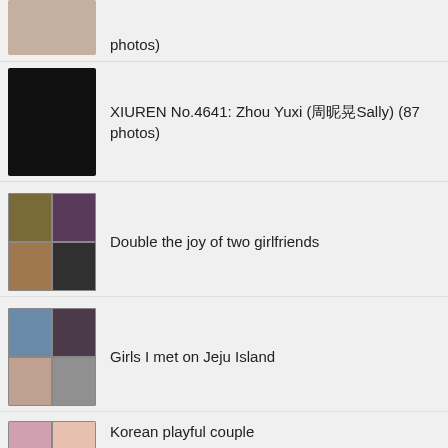photos)
XIUREN No.4641: Zhou Yuxi (周昵晃Sally) (87 photos)
Double the joy of two girlfriends
Girls I met on Jeju Island
Korean playful couple